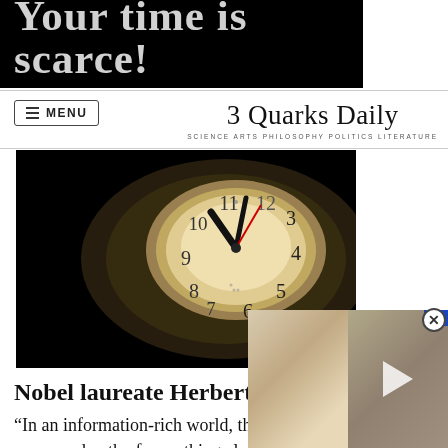[Figure (photo): Black banner with large white bold text reading 'Your time is scarce!']
≡ MENU
3 Quarks Daily
SCIENCE ARTS PHILOSOPHY POLITICS LITERATURE
[Figure (photo): Close-up photograph of an analog clock face on black background, showing clock hands and numbers, dramatically lit.]
Nobel laureate Herbert Simon:
“In an information-rich world, the wealth of information means a dearth of something else: a scarcity of whatever it is that information consumes. What information consumes is rather obvious: it consumes the attention of its recipients and a wealth of information
[Figure (screenshot): A video overlay panel showing two blurred images side by side with a play button, and a close (X) button in the top right corner.]